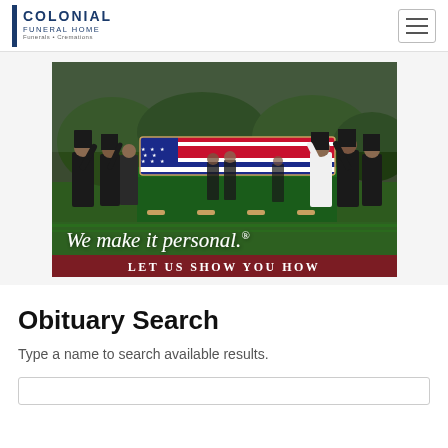Colonial Funeral Home — Funerals • Cremations
[Figure (photo): Military funeral scene with soldiers in dress uniforms saluting a flag-draped casket on a green-skirted bier outdoors. Text overlay reads 'We make it personal.®' with a dark red banner below reading 'LET US SHOW YOU HOW']
Obituary Search
Type a name to search available results.